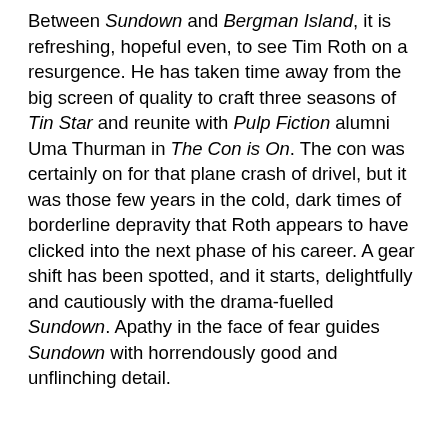Between Sundown and Bergman Island, it is refreshing, hopeful even, to see Tim Roth on a resurgence. He has taken time away from the big screen of quality to craft three seasons of Tin Star and reunite with Pulp Fiction alumni Uma Thurman in The Con is On. The con was certainly on for that plane crash of drivel, but it was those few years in the cold, dark times of borderline depravity that Roth appears to have clicked into the next phase of his career. A gear shift has been spotted, and it starts, delightfully and cautiously with the drama-fuelled Sundown. Apathy in the face of fear guides Sundown with horrendously good and unflinching detail.
Contemplative at the best of times, Sundown takes pride in the framing of its isolation and the lead character that revels in it. Director Michel Franco successfully realises that most hope to see a rift or divide between the wealthy elite. Their suffering is justified and their trip ruined, unlike French Exit which hopes to claw at the allure of regal living when not a